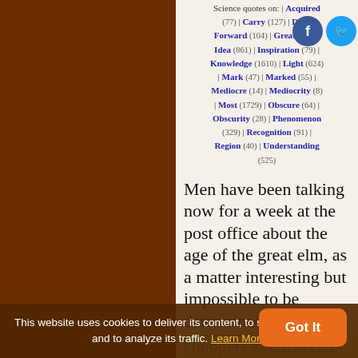Science quotes on: | Acquired (77) | Carry (127) | Dark | Follow | Forward (104) | Great (108) | Idea (861) | Inspiration (79) | Knowledge (1610) | Light (624) | Mark (47) | Marked (55) | Mediocre (14) | Mediocrity (8) | Most (1729) | Obscure (64) | Obscurity (28) | Phenomenon (329) | Recognition (91) | Region (40) | Understanding (525)
Men have been talking now for a week at the post office about the age of the great elm, as a matter interesting but impossible to be determined. The very choppers and travelers have stood upon its logs and prostrate trunk and speculated upon its age, as if it were a profound
This website uses cookies to deliver its content, to show relevant ads and to analyze its traffic. Learn More